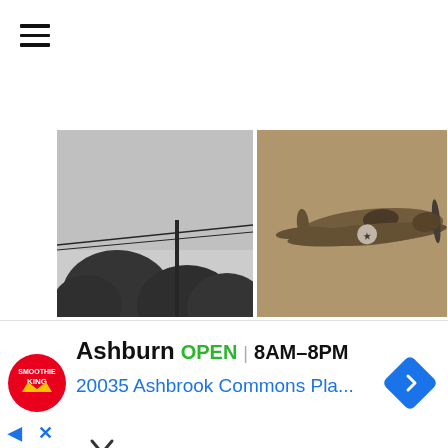hamburger menu icon
[Figure (photo): Black and white grainy photo showing tree silhouettes and power lines against an overcast sky, possibly showing an unidentified object]
[Figure (photo): Sepia-toned vintage photo of a WWII-era fighter aircraft, appears to be a P-51 Mustang viewed from below]
[Figure (photo): Color photo showing blue sky over red rock mesa/cliff formation with a small white disc-shaped UFO visible in the upper left]
[Figure (photo): Black and white grainy photo of a field or flat terrain with a dark disc-shaped object visible in mid-air]
Ashburn  OPEN | 8AM–8PM
20035 Ashbrook Commons Pla...